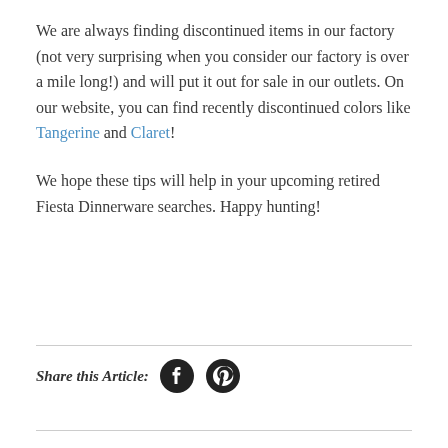We are always finding discontinued items in our factory (not very surprising when you consider our factory is over a mile long!) and will put it out for sale in our outlets. On our website, you can find recently discontinued colors like Tangerine and Claret!
We hope these tips will help in your upcoming retired Fiesta Dinnerware searches. Happy hunting!
Share this Article: